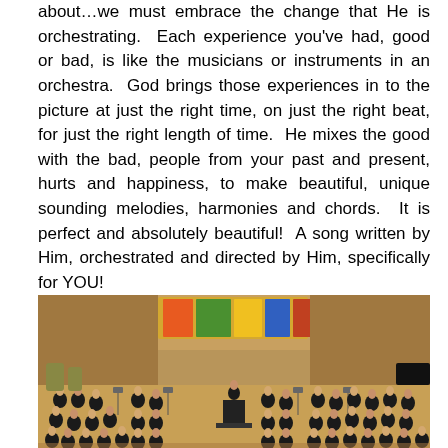about…we must embrace the change that He is orchestrating.  Each experience you've had, good or bad, is like the musicians or instruments in an orchestra.  God brings those experiences in to the picture at just the right time, on just the right beat, for just the right length of time.  He mixes the good with the bad, people from your past and present, hurts and happiness, to make beautiful, unique sounding melodies, harmonies and chords.  It is perfect and absolutely beautiful!  A song written by Him, orchestrated and directed by Him, specifically for YOU!
[Figure (photo): A large symphony orchestra on stage in a concert hall. Many musicians in formal black attire are seated with their instruments including strings, brass, and woodwinds. The stage has warm wooden paneling and colorful artwork visible on the back wall.]